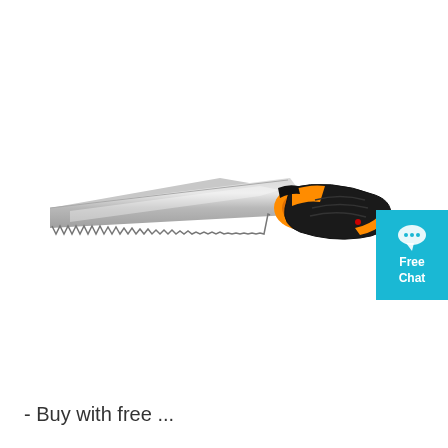[Figure (photo): A folding pruning saw with a serrated steel blade, orange and black ergonomic handle, shown open at an angle against a white background.]
[Figure (other): A cyan/teal square badge with a speech bubble chat icon and the text 'Free Chat' in white bold letters.]
- Buy with free ...